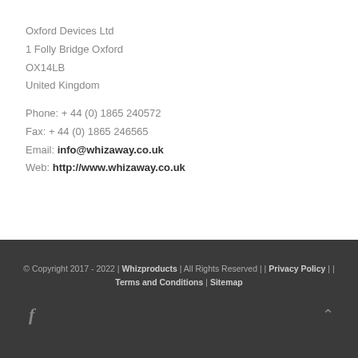Oxford Devices Ltd
1 Folly Bridge Oxford
OX14LB
United Kingdom
Phone: + 44 (0) 1865 240572
Fax: + 44 (0) 1865 246565
Email: info@whizaway.co.uk
Web: http://www.whizaway.co.uk
© Copyright 2017 - 2022 | Whizproducts | All Rights Reserved | | Privacy Policy | | Terms and Conditions | Sitemap